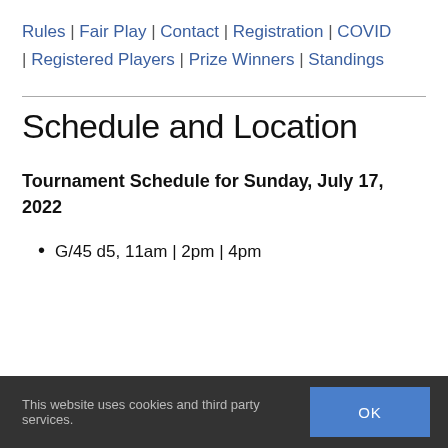Rules | Fair Play | Contact | Registration | COVID | Registered Players | Prize Winners | Standings
Schedule and Location
Tournament Schedule for Sunday, July 17, 2022
G/45 d5, 11am | 2pm | 4pm
This website uses cookies and third party services. OK